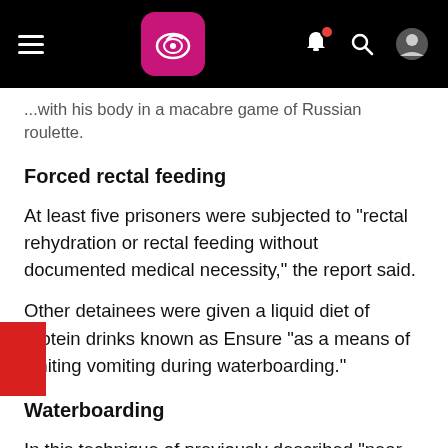[navigation bar with logo and icons]
...with his body in a macabre game of Russian roulette.
Forced rectal feeding
At least five prisoners were subjected to "rectal rehydration or rectal feeding without documented medical necessity," the report said.
Other detainees were given a liquid diet of protein drinks known as Ensure "as a means of limiting vomiting during waterboarding."
Waterboarding
In this technique of previously described "near drownings," the detainee was bound to an inclined bench with his foot usually raised